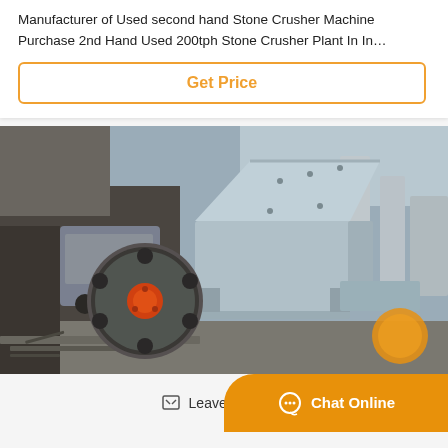Manufacturer of Used second hand Stone Crusher Machine Purchase 2nd Hand Used 200tph Stone Crusher Plant In In…
Get Price
[Figure (photo): Photograph of a used stone crusher machine (hammer mill / jaw crusher) in an industrial yard. The machine is painted light blue/grey with a large flywheel with an orange center hub, mounted on a steel base. Heavy industrial equipment and a truck are visible in the background, along with a worker in the far background.]
Leave Message
Chat Online